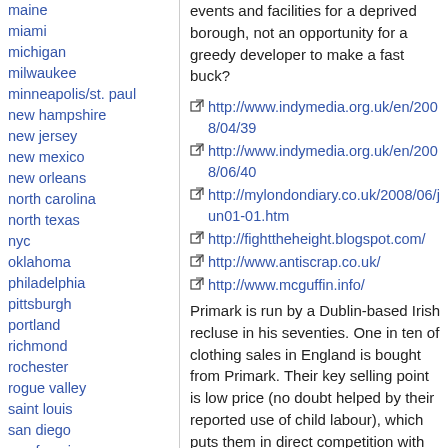maine
miami
michigan
milwaukee
minneapolis/st. paul
new hampshire
new jersey
new mexico
new orleans
north carolina
north texas
nyc
oklahoma
philadelphia
pittsburgh
portland
richmond
rochester
rogue valley
saint louis
san diego
san francisco
san francisco bay area
santa barbara
santa cruz, ca
sarasota
events and facilities for a deprived borough, not an opportunity for a greedy developer to make a fast buck?
http://www.indymedia.org.uk/en/2008/04/39...
http://www.indymedia.org.uk/en/2008/06/40...
http://mylondondiary.co.uk/2008/06/jun01-01.htm
http://fighttheheight.blogspot.com/
http://www.antiscrap.co.uk/
http://www.mcguffin.info/
Primark is run by a Dublin-based Irish recluse in his seventies. One in ten of clothing sales in England is bought from Primark. Their key selling point is low price (no doubt helped by their reported use of child labour), which puts them in direct competition with the stallholders in Walthamstow.
Primark extracts money from a local economy, local stallholders recycle